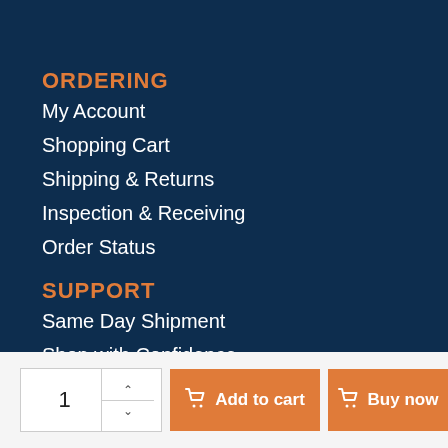ORDERING
My Account
Shopping Cart
Shipping & Returns
Inspection & Receiving
Order Status
SUPPORT
Same Day Shipment
Shop with Confidence
Product Quality
Sustainability
Reseller Program